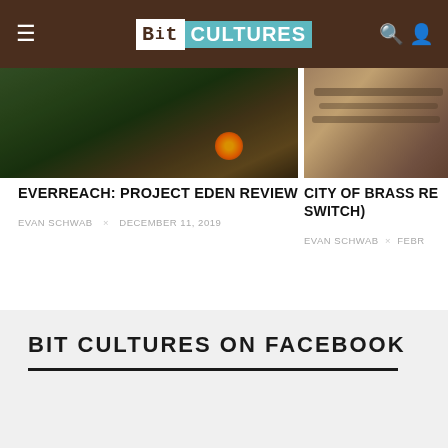Bit Cultures
[Figure (photo): Game screenshot showing dark forest scene with orange glowing light, left panel of article card for Everreach: Project Eden]
[Figure (photo): Game screenshot showing rope/stone textures, right panel partially visible, article card for City of Brass]
EVERREACH: PROJECT EDEN REVIEW
EVAN SCHWAB × DECEMBER 11, 2019
CITY OF BRASS RE... SWITCH)
EVAN SCHWAB × FEBR...
BIT CULTURES ON FACEBOOK